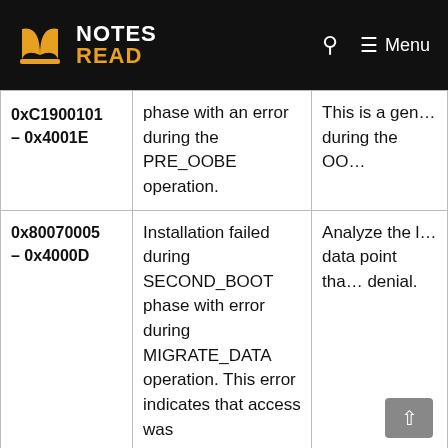NOTES READ
| Error Code | Description | Solution |
| --- | --- | --- |
| 0xC1900101 – 0x4001E | phase with an error during the PRE_OOBE operation. | This is a gene… during the OO… |
| 0x80070005 – 0x4000D | Installation failed during SECOND_BOOT phase with error during MIGRATE_DATA operation. This error indicates that access was | Analyze the l… data point tha… denial. |